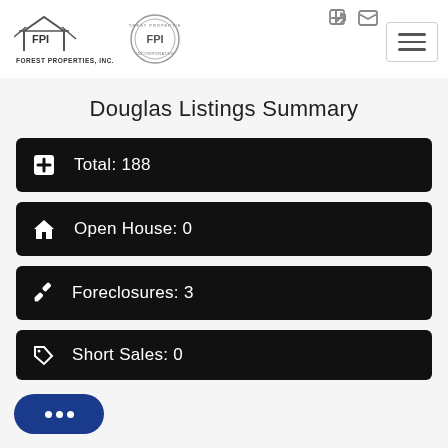[Figure (logo): FPI Forest Properties Inc logo with house/mountain graphic and text FOREST PROPERTIES, INC.]
[Figure (logo): FPI circular stamp/seal logo]
Douglas Listings Summary
Total: 188
Open House: 0
Foreclosures: 3
Short Sales: 0